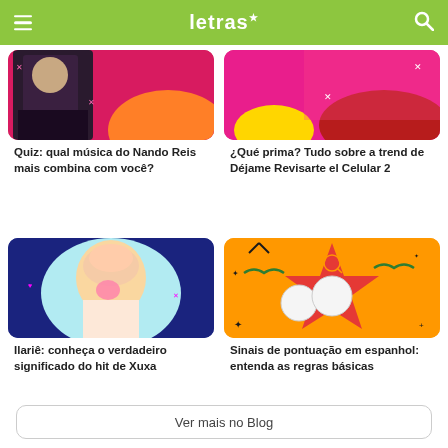letras
[Figure (photo): Tattooed musician with guitar on pink/orange background - Quiz Nando Reis]
Quiz: qual música do Nando Reis mais combina com você?
[Figure (photo): Colorful fashion image on pink/red background - Déjame Revisarte el Celular 2 trend]
¿Qué prima? Tudo sobre a trend de Déjame Revisarte el Celular 2
[Figure (photo): Blonde woman blowing bubble gum on blue background - Ilariê Xuxa]
Ilariê: conheça o verdadeiro significado do hit de Xuxa
[Figure (photo): Two black and white face cutouts on orange background with red starburst - Spanish punctuation]
Sinais de pontuação em espanhol: entenda as regras básicas
Ver mais no Blog